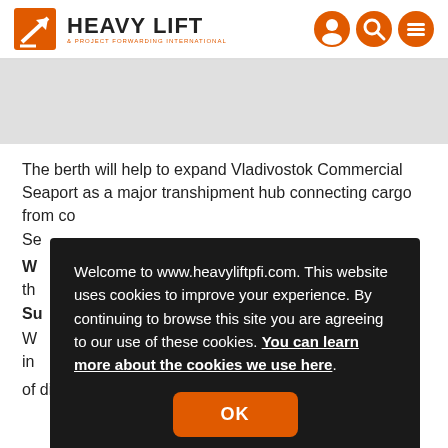HEAVY LIFT & PROJECT FORWARDING INTERNATIONAL
[Figure (other): Gray banner image placeholder]
The berth will help to expand Vladivostok Commercial Seaport as a major transhipment hub connecting cargo from co... Se... W... th...
Su...
W... in... of directors of Fesco.
Welcome to www.heavyliftpfi.com. This website uses cookies to improve your experience. By continuing to browse this site you are agreeing to our use of these cookies. You can learn more about the cookies we use here.